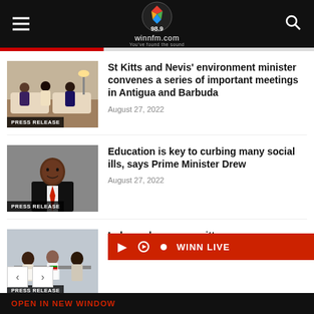winnfm.com 98.9
[Figure (photo): Meeting scene with people seated on sofas, labeled PRESS RELEASE]
St Kitts and Nevis’ environment minister convenes a series of important meetings in Antigua and Barbuda
August 27, 2022
[Figure (photo): Man in suit with red tie smiling, labeled PRESS RELEASE]
Education is key to curbing many social ills, says Prime Minister Drew
August 27, 2022
[Figure (photo): Committee meeting scene, labeled PRESS RELEASE]
Independence committee convenes meeting to plan activities for 39th
WINN LIVE
OPEN IN NEW WINDOW